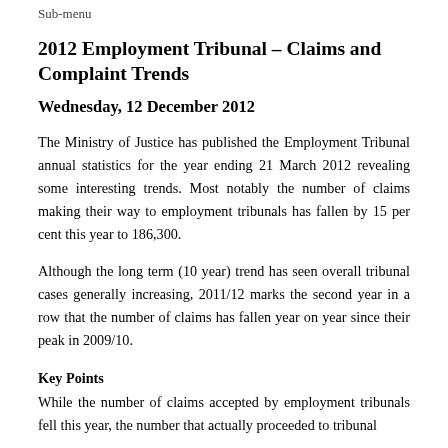Sub-menu
2012 Employment Tribunal – Claims and Complaint Trends
Wednesday, 12 December 2012
The Ministry of Justice has published the Employment Tribunal annual statistics for the year ending 21 March 2012 revealing some interesting trends. Most notably the number of claims making their way to employment tribunals has fallen by 15 per cent this year to 186,300.
Although the long term (10 year) trend has seen overall tribunal cases generally increasing, 2011/12 marks the second year in a row that the number of claims has fallen year on year since their peak in 2009/10.
Key Points
While the number of claims accepted by employment tribunals fell this year, the number that actually proceeded to tribunal